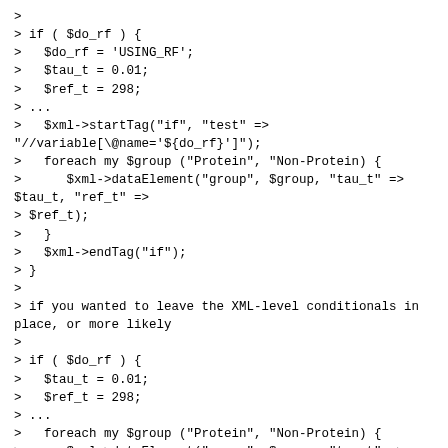> 
> if ( $do_rf ) {
>   $do_rf = 'USING_RF';
>   $tau_t = 0.01;
>   $ref_t = 298;
> ...
>   $xml->startTag("if", "test" =>
"//variable[\@name='${do_rf}']");
>   foreach my $group ("Protein", "Non-Protein) {
>      $xml->dataElement("group", $group, "tau_t" =>
$tau_t, "ref_t" =>
> $ref_t);
>   }
>   $xml->endTag("if");
> }
>
> if you wanted to leave the XML-level conditionals in place, or more likely
>
> if ( $do_rf ) {
>   $tau_t = 0.01;
>   $ref_t = 298;
> ...
>   foreach my $group ("Protein", "Non-Protein) {
>      $xml->dataElement("group", $group, "tau_t" =>
$tau_t, "ref_t" =>
> $ref_t);
>   }
> }
>